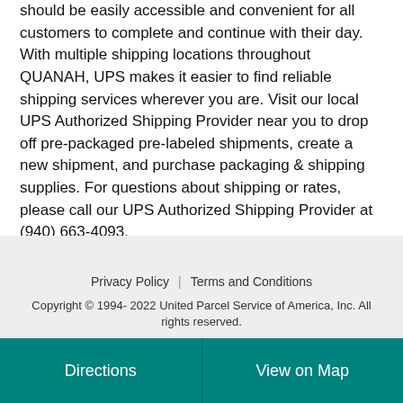should be easily accessible and convenient for all customers to complete and continue with their day. With multiple shipping locations throughout QUANAH, UPS makes it easier to find reliable shipping services wherever you are. Visit our local UPS Authorized Shipping Provider near you to drop off pre-packaged pre-labeled shipments, create a new shipment, and purchase packaging & shipping supplies. For questions about shipping or rates, please call our UPS Authorized Shipping Provider at (940) 663-4093.
Privacy Policy | Terms and Conditions
Copyright © 1994- 2022 United Parcel Service of America, Inc. All rights reserved.
Directions
View on Map